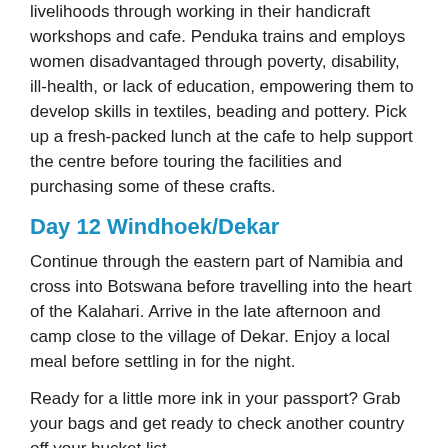livelihoods through working in their handicraft workshops and cafe. Penduka trains and employs women disadvantaged through poverty, disability, ill-health, or lack of education, empowering them to develop skills in textiles, beading and pottery. Pick up a fresh-packed lunch at the cafe to help support the centre before touring the facilities and purchasing some of these crafts.
Day 12 Windhoek/Dekar
Continue through the eastern part of Namibia and cross into Botswana before travelling into the heart of the Kalahari. Arrive in the late afternoon and camp close to the village of Dekar. Enjoy a local meal before settling in for the night.
Ready for a little more ink in your passport? Grab your bags and get ready to check another country off your bucket list.
Day 13 D'kar to Maun
Travel along the northern portions of the Kalahari Desert throughout the day – this is a severely arid and barren landscape, though very beautiful. After arrival in Maun, the biggest town in the Okavango Delta area, pick up any supplies needed and prepare for the journey into the Okavango Delta. Opt to fly over the delta by pre-booking the Okavango Delta Flight when booking